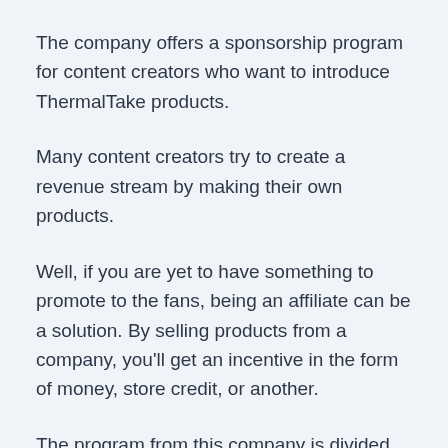The company offers a sponsorship program for content creators who want to introduce ThermalTake products.
Many content creators try to create a revenue stream by making their own products.
Well, if you are yet to have something to promote to the fans, being an affiliate can be a solution. By selling products from a company, you'll get an incentive in the form of money, store credit, or another.
The program from this company is divided into 3 tiers with each assigned to different benefits.